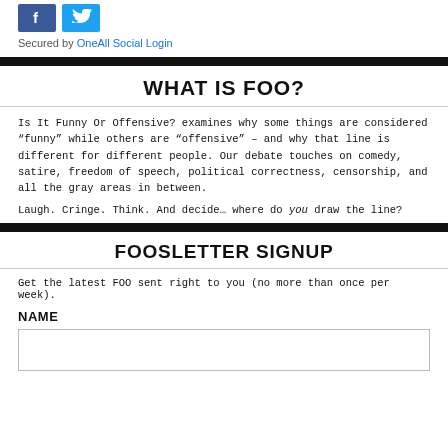[Figure (logo): Facebook and Twitter social login icon buttons (blue squares)]
Secured by OneAll Social Login
WHAT IS FOO?
Is It Funny Or Offensive? examines why some things are considered “funny” while others are “offensive” – and why that line is different for different people. Our debate touches on comedy, satire, freedom of speech, political correctness, censorship, and all the gray areas in between.
Laugh. Cringe. Think. And decide… where do you draw the line?
FOOSLETTER SIGNUP
Get the latest FOO sent right to you (no more than once per week).
NAME